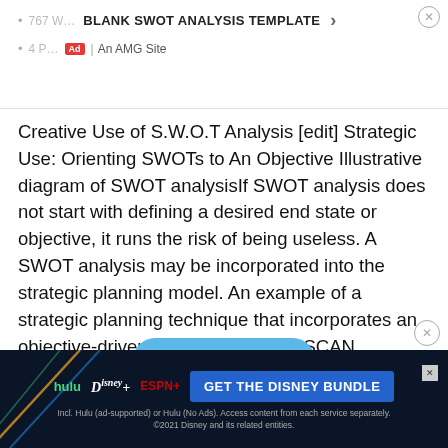BLANK SWOT ANALYSIS TEMPLATE | Ad | An AMG Site
Creative Use of S.W.O.T Analysis [edit] Strategic Use: Orienting SWOTs to An Objective Illustrative diagram of SWOT analysisIf SWOT analysis does not start with defining a desired end state or objective, it runs the risk of being useless. A SWOT analysis may be incorporated into the strategic planning model. An example of a strategic planning technique that incorporates an objective-driven SWOT analysis is SCAN analysis. Strategic Planning, including SWOT and SCAN analysis, has been the subject…
[Figure (screenshot): Read More button (blue rounded rectangle)]
[Figure (screenshot): Disney Bundle advertisement banner with Hulu, Disney+, ESPN+ logos and GET THE DISNEY BUNDLE call to action]